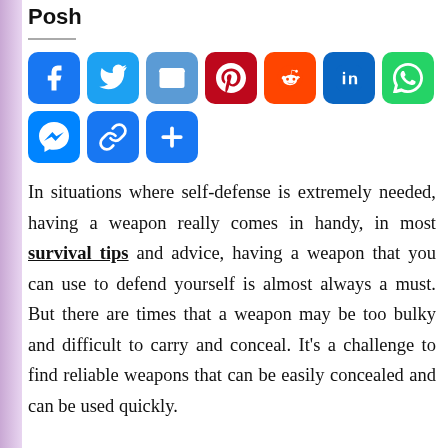Posh
[Figure (infographic): Social media share buttons: Facebook, Twitter, Email, Pinterest, Reddit, LinkedIn, WhatsApp, Messenger, Copy Link, More]
In situations where self-defense is extremely needed, having a weapon really comes in handy, in most survival tips and advice, having a weapon that you can use to defend yourself is almost always a must. But there are times that a weapon may be too bulky and difficult to carry and conceal. It’s a challenge to find reliable weapons that can be easily concealed and can be used quickly.